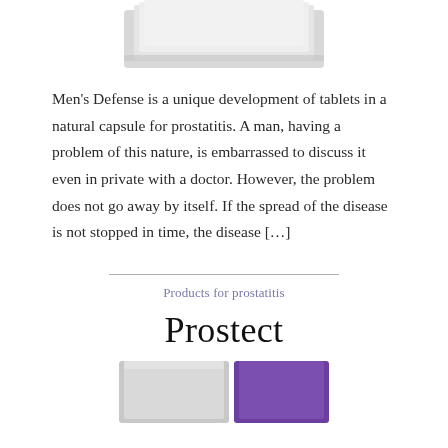[Figure (photo): Top portion of a product package or tablet box, partially visible at the top of the page, light gray/white coloring]
Men's Defense is a unique development of tablets in a natural capsule for prostatitis. A man, having a problem of this nature, is embarrassed to discuss it even in private with a doctor. However, the problem does not go away by itself. If the spread of the disease is not stopped in time, the disease […]
Products for prostatitis
Prostect
[Figure (photo): Bottom portion of a product package showing gray and purple colored boxes, partially visible at the bottom of the page]